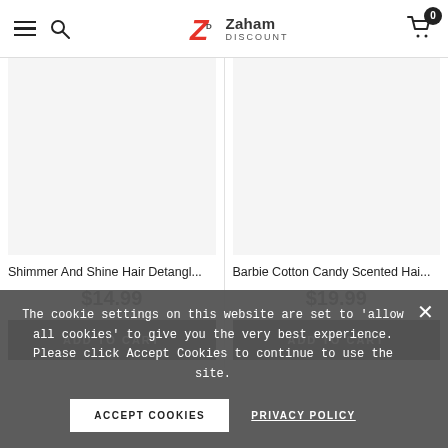Zaham Discount — navigation header with hamburger menu, search, logo, and cart (0 items)
Shimmer And Shine Hair Detangl...
$14.99
ADD TO CART
Barbie Cotton Candy Scented Hai...
$19.99
ADD TO CART
The cookie settings on this website are set to 'allow all cookies' to give you the very best experience. Please click Accept Cookies to continue to use the site.
ACCEPT COOKIES
PRIVACY POLICY